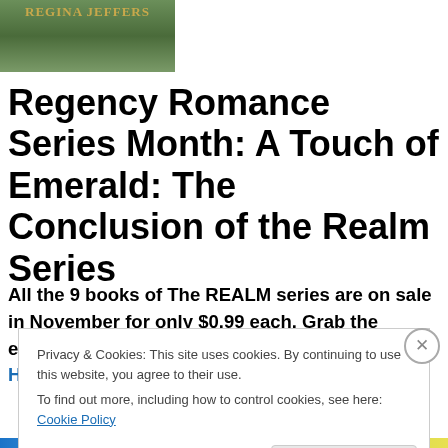[Figure (photo): Book cover image showing 'REGINA JEFFERS' text on a green decorative background]
Regency Romance Series Month: A Touch of Emerald: The Conclusion of the Realm Series
All the 9 books of The REALM series are on sale in November for only $0.99 each. Grab the eBooks while you can. Find all my Regency titles HERE.
Privacy & Cookies: This site uses cookies. By continuing to use this website, you agree to their use.
To find out more, including how to control cookies, see here: Cookie Policy